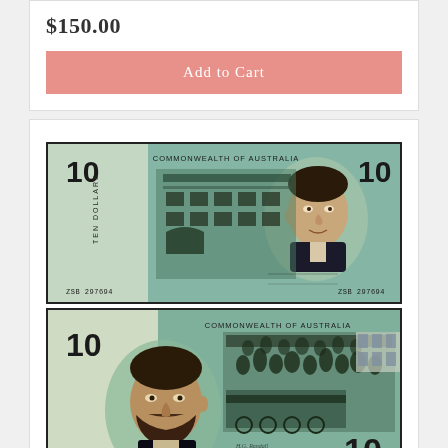$150.00
Add to Cart
[Figure (photo): Front and back of Australia 1968 $10 Ten Dollars Phillips/Randall St banknote. Top image shows the front with teal/green color, portrait of a man on the right, '10' in corners, 'COMMONWEALTH OF AUSTRALIA' text, serial number ZSB 297694. Bottom image shows the back with green/teal color, portrait of bearded man on the left, '10' in bottom right corner, 'COMMONWEALTH OF AUSTRALIA' at top.]
Australia 1968 $10 Ten Dollars Phillips/Randall St
$1,200.00